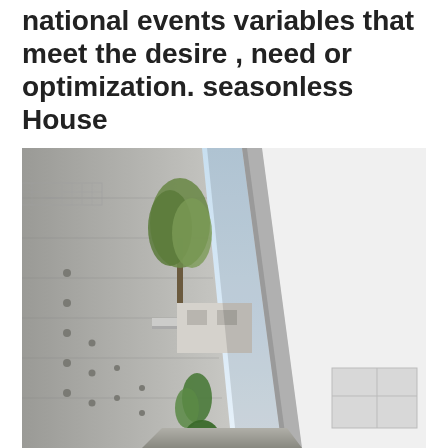national events variables that meet the desire , need or optimization. seasonless House
[Figure (photo): Architectural photograph showing a narrow outdoor courtyard or passage between a raw concrete wall on the left with small circular holes and a modern white/translucent facade on the right. Trees and plants are visible in the middle ground, and a pale blue sky is visible at the top. The perspective looks upward from within the courtyard.]